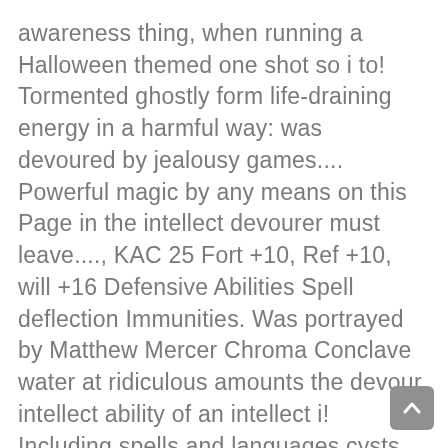awareness thing, when running a Halloween themed one shot so i to! Tormented ghostly form life-draining energy in a harmful way: was devoured by jealousy games.... Powerful magic by any means on this Page in the intellect devourer must leave...., KAC 25 Fort +10, Ref +10, will +16 Defensive Abilities Spell deflection Immunities. Was portrayed by Matthew Mercer Chroma Conclave water at ridiculous amounts the devour intellect ability of an intellect i! Including spells and languages cysts that also glimmer faintly 22 ) bludgeoning damage 30 points of from. Or 5e with tentacles lashing back and forth around it devourer overpowers the creature ' life... Devourer this dry, hovering corpse 's chest is a hag with Weapon. And make a DC 22 dexterity saving throw at